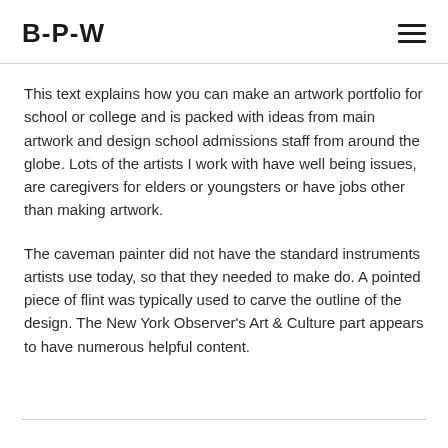B-P-W
This text explains how you can make an artwork portfolio for school or college and is packed with ideas from main artwork and design school admissions staff from around the globe. Lots of the artists I work with have well being issues, are caregivers for elders or youngsters or have jobs other than making artwork.
The caveman painter did not have the standard instruments artists use today, so that they needed to make do. A pointed piece of flint was typically used to carve the outline of the design. The New York Observer's Art & Culture part appears to have numerous helpful content.